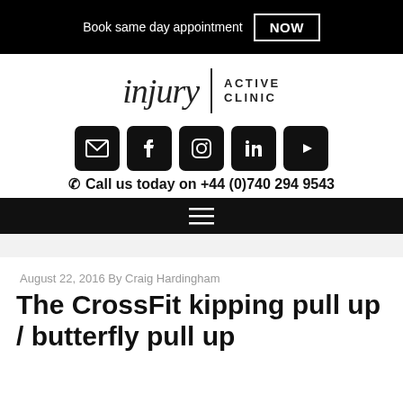Book same day appointment NOW
[Figure (logo): Injury Active Clinic logo with italic 'injury' text, vertical divider, and 'ACTIVE CLINIC' text]
[Figure (infographic): Five social media icon buttons: email, Facebook, Instagram, LinkedIn, YouTube]
Call us today on +44 (0)740 294 9543
August 22, 2016 By Craig Hardingham
The CrossFit kipping pull up / butterfly pull up